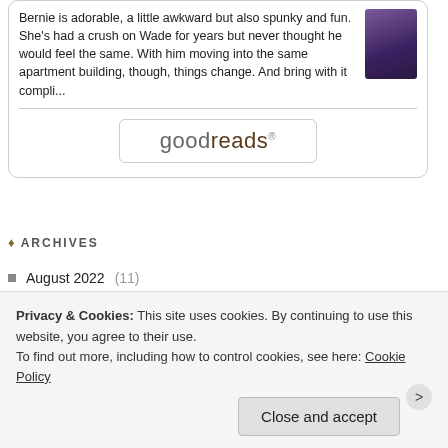Bernie is adorable, a little awkward but also spunky and fun. She's had a crush on Wade for years but never thought he would feel the same. With him moving into the same apartment building, though, things change. And bring with it compli...
[Figure (logo): goodreads logo button with rounded rectangle border]
ARCHIVES
August 2022 (11)
July 2022 (17)
June 2022 (11)
Privacy & Cookies: This site uses cookies. By continuing to use this website, you agree to their use.
To find out more, including how to control cookies, see here: Cookie Policy
Close and accept